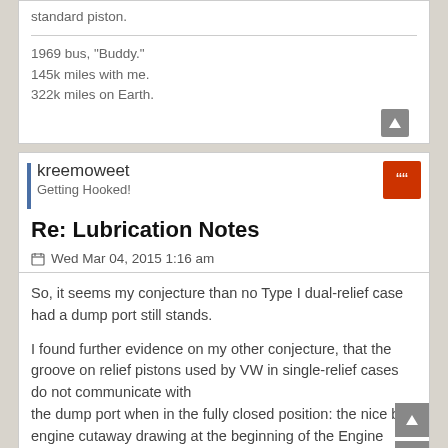standard piston.
1969 bus, "Buddy."
145k miles with me.
322k miles on Earth.
kreemoweet
Getting Hooked!
Re: Lubrication Notes
Wed Mar 04, 2015 1:16 am
So, it seems my conjecture than no Type I dual-relief case had a dump port still stands.

I found further evidence on my other conjecture, that the groove on relief pistons used by VW in single-relief cases do not communicate with the dump port when in the fully closed position: the nice big engine cutaway drawing at the beginning of the Engine chapter of the '66-'69 Type I